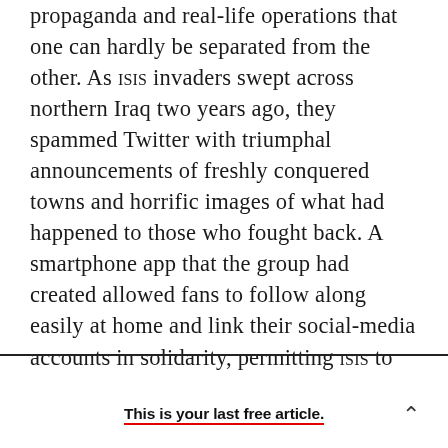propaganda and real-life operations that one can hardly be separated from the other. As ISIS invaders swept across northern Iraq two years ago, they spammed Twitter with triumphal announcements of freshly conquered towns and horrific images of what had happened to those who fought back. A smartphone app that the group had created allowed fans to follow along easily at home and link their social-media accounts in solidarity, permitting ISIS to post automatically on their behalf. J. M. Berger, a fellow with George Washington University's Program on Extremism, counted as many as
This is your last free article.